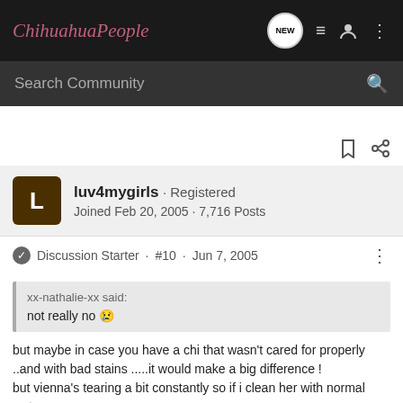ChihuahuaPeople
Search Community
luv4mygirls · Registered
Joined Feb 20, 2005 · 7,716 Posts
Discussion Starter · #10 · Jun 7, 2005
xx-nathalie-xx said:
not really no 😢
but maybe in case you have a chi that wasn't cared for properly ..and with bad stains .....it would make a big difference !
but vienna's tearing a bit constantly so if i clean her with normal water